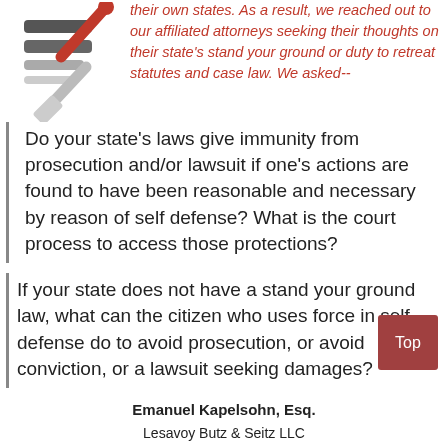[Figure (illustration): Icon with horizontal bars and a red diagonal element suggesting a legal/document graphic]
their own states. As a result, we reached out to our affiliated attorneys seeking their thoughts on their state's stand your ground or duty to retreat statutes and case law. We asked--
Do your state's laws give immunity from prosecution and/or lawsuit if one's actions are found to have been reasonable and necessary by reason of self defense? What is the court process to access those protections?
If your state does not have a stand your ground law, what can the citizen who uses force in self defense do to avoid prosecution, or avoid conviction, or a lawsuit seeking damages?
Emanuel Kapelsohn, Esq.
Lesavoy Butz & Seitz LLC
1620 Pond Road Ste. 200, Allentown, PA 18104
610-530-2700 - Home office 484-504-1345
http://www.lesavoybutz.com/